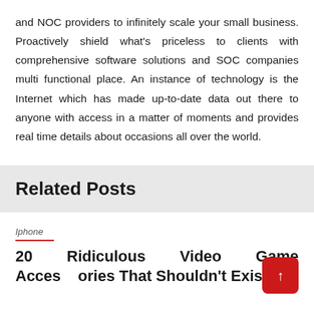and NOC providers to infinitely scale your small business. Proactively shield what's priceless to clients with comprehensive software solutions and SOC companies multi functional place. An instance of technology is the Internet which has made up-to-date data out there to anyone with access in a matter of moments and provides real time details about occasions all over the world.
Related Posts
Iphone
20 Ridiculous Video Game Accessories That Shouldn't Exist